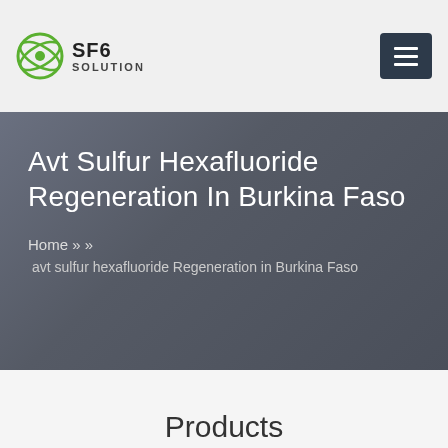SF6 SOLUTION
Avt Sulfur Hexafluoride Regeneration In Burkina Faso
Home » » avt sulfur hexafluoride Regeneration in Burkina Faso
Products